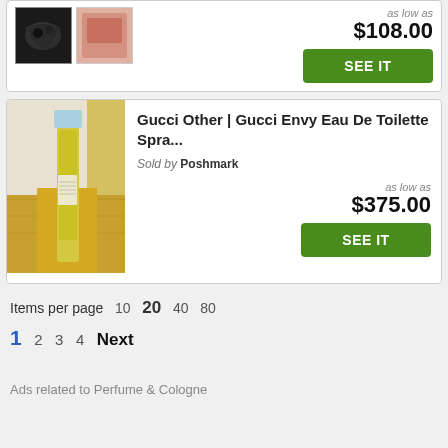[Figure (photo): Top portion of a product card showing two artwork thumbnails on the left and a price label with SEE IT button on the right. Price shown as 'as low as $108.00'.]
[Figure (photo): Photo of a Gucci Envy Eau De Toilette spray bottle standing upright on a wooden surface with light blue cap and yellow-green liquid visible inside.]
Gucci Other | Gucci Envy Eau De Toilette Spra...
Sold by Poshmark
as low as $375.00
Items per page  10  20  40  80
1  2  3  4  Next
Ads related to Perfume & Cologne